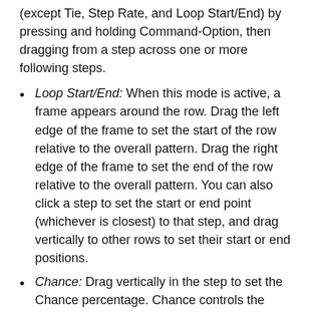(except Tie, Step Rate, and Loop Start/End) by pressing and holding Command-Option, then dragging from a step across one or more following steps.
Loop Start/End: When this mode is active, a frame appears around the row. Drag the left edge of the frame to set the start of the row relative to the overall pattern. Drag the right edge of the frame to set the end of the row relative to the overall pattern. You can also click a step to set the start or end point (whichever is closest) to that step, and drag vertically to other rows to set their start or end positions.
Chance: Drag vertically in the step to set the Chance percentage. Chance controls the probability that the step plays each time the pattern repeats. The active state of the step is